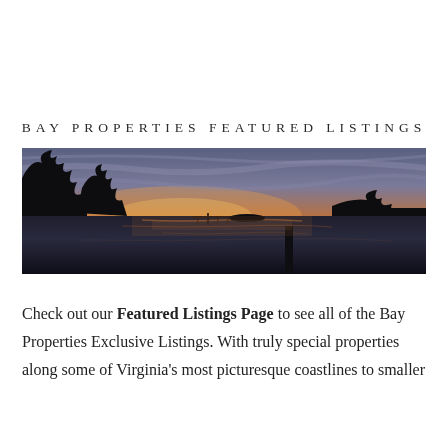BAY PROPERTIES FEATURED LISTINGS
[Figure (photo): Waterfront sunset scene with silhouette of trees, a dock, and boats reflected on calm bay water under a colorful twilight sky]
Check out our Featured Listings Page to see all of the Bay Properties Exclusive Listings. With truly special properties along some of Virginia's most picturesque coastlines to smaller